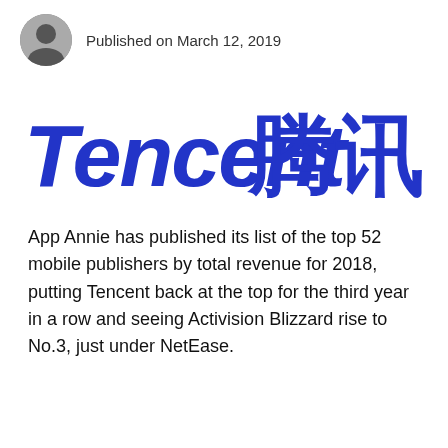Published on March 12, 2019
[Figure (logo): Tencent logo with English italic bold text 'Tencent' and Chinese characters '腾讯' in blue]
App Annie has published its list of the top 52 mobile publishers by total revenue for 2018, putting Tencent back at the top for the third year in a row and seeing Activision Blizzard rise to No.3, just under NetEase.